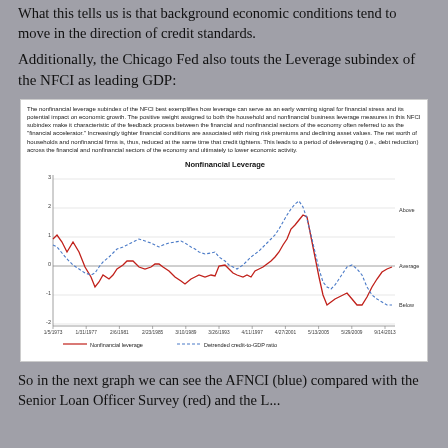What this tells us is that background economic conditions tend to move in the direction of credit standards.
Additionally, the Chicago Fed also touts the Leverage subindex of the NFCI as leading GDP:
[Figure (continuous-plot): Line chart showing Nonfinancial leverage (red solid line) and Detrended credit-to-GDP ratio (blue dashed line) from 1/5/1973 to 9/14/2013. Y-axis ranges from -2 to 3, with labels Above, Average, Below. Both series show cyclical fluctuations. A text block above the chart explains the nonfinancial leverage subindex of the NFCI.]
So in the next graph we can see the AFNCI (blue) compared with the Senior Loan Officer Survey (red) and the L...